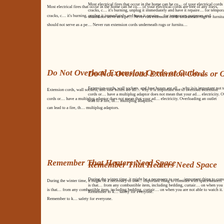Most electrical fires that occur in the home can be cured by making sure all of your electrical cords are free of any frays, cracks, or damage. If a cord smells like it's burning, unplug it immediately and have it repaired or replaced. Extension cords are for temporary purposes and should not serve as a permanent fixture in your home. Never run extension cords underneath rugs or furniture.
Do Not Overload Extension Cords or Outlets
Extension cords, wall sockets, and fuse boxes are all limited in how much power they can handle, which is why it is important not to overload extension cords or outlets with too many appliances. Just because you have a multiplug adaptor does not mean that your adaptor can handle an unlimited amount of electricity. Overloading an outlet can lead to a fire, the same as overloading extension cords or multiplug adaptors.
Remember That Heaters Need Space
During the winter time, it might be a necessary to use a space heater to heat your home. The most important thing to consider with space heaters is that they need to have at least three feet of distance from any combustible item, including bedding, curtains, and furniture. Do not leave a space heater on when you are not able to watch it. Remember to keep space heaters in mind in order to ensure safety for everyone.
Last updated 7/29/2011
© 2005 CCFD